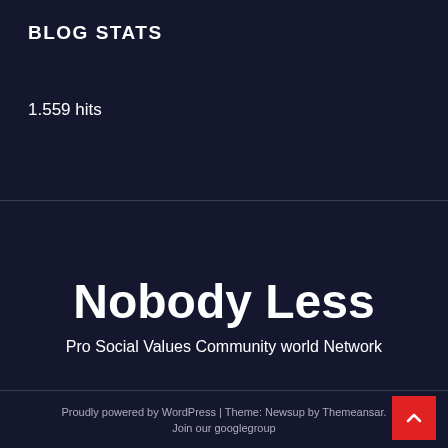BLOG STATS
1.559 hits
Nobody Less
Pro Social Values Community world Network
Proudly powered by WordPress | Theme: Newsup by Themeansar.
Join our googlegroup